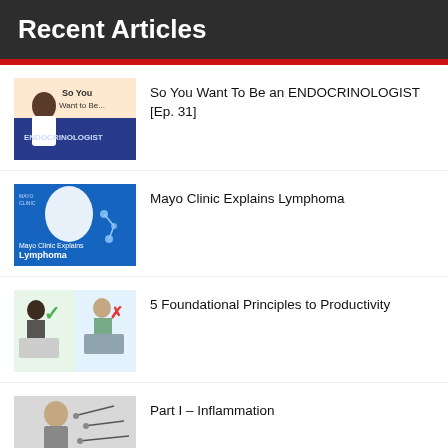Recent Articles
So You Want To Be an ENDOCRINOLOGIST [Ep. 31]
Mayo Clinic Explains Lymphoma
5 Foundational Principles to Productivity
Part I – Inflammation